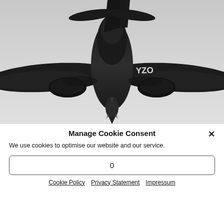[Figure (photo): Black and white aerial photograph of a WWII-era bomber aircraft (likely a de Havilland Mosquito or similar twin-engine aircraft) viewed from below/front, with bomb visible dropping from the fuselage. Aircraft markings 'YZO' visible on the wing.]
Manage Cookie Consent
We use cookies to optimise our website and our service.
0
Cookie Policy   Privacy Statement   Impressum